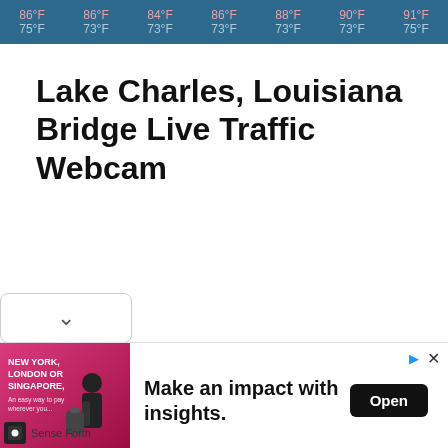[Figure (other): Weather bar showing 7-day forecast temperatures. High/low pairs: 86°F/75°F, 86°F/73°F, 84°F/73°F, 86°F/73°F, 88°F/73°F, 90°F/73°F, 91°F/75°F]
Lake Charles, Louisiana Bridge Live Traffic Webcam
[Figure (screenshot): Advertisement banner: image of a man with luggage, text 'NEW YORK, LONDON OR SINGAPORE,' with tagline 'Make an impact with insights.' Open button. Brand: Sense Forth.]